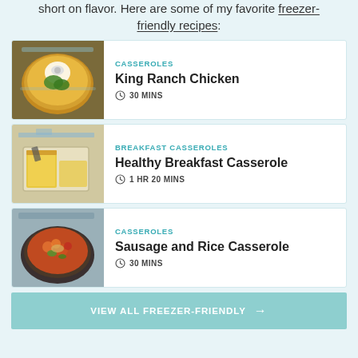short on flavor. Here are some of my favorite freezer-friendly recipes:
[Figure (photo): King Ranch Chicken casserole in a cast iron skillet with avocado slices and sour cream topping]
CASSEROLES | King Ranch Chicken | 30 MINS
[Figure (photo): Healthy Breakfast Casserole sliced in a white baking dish with a spatula]
BREAKFAST CASSEROLES | Healthy Breakfast Casserole | 1 HR 20 MINS
[Figure (photo): Sausage and Rice Casserole in a black skillet with bell peppers and herbs]
CASSEROLES | Sausage and Rice Casserole | 30 MINS
VIEW ALL FREEZER-FRIENDLY →